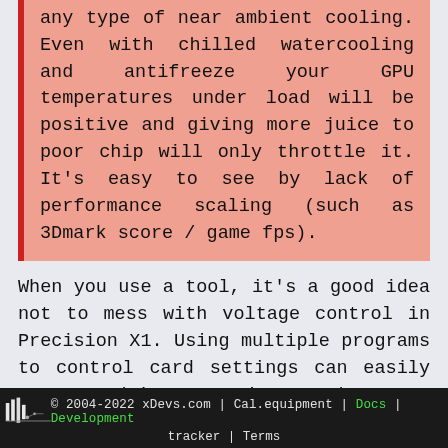any type of near ambient cooling. Even with chilled watercooling and antifreeze your GPU temperatures under load will be positive and giving more juice to poor chip will only throttle it. It's easy to see by lack of performance scaling (such as 3Dmark score / game fps).
When you use a tool, it's a good idea not to mess with voltage control in Precision X1. Using multiple programs to control card settings can easily corrupt driver settings and create havoc. Great example of “Too many cooks in the kitchen”, because different applications do not communicate to each other, to gracefully apply settings.
© 2004-2022 xDevs.com | Cal.equipment | Docs | Development tracker | Terms